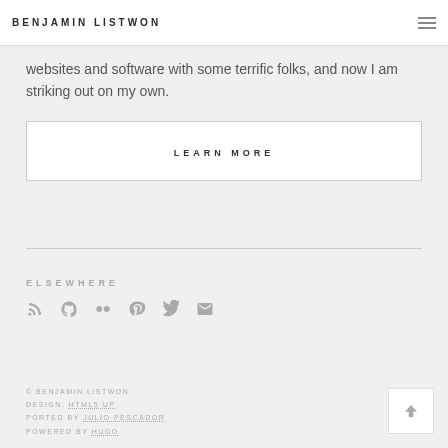BENJAMIN LISTWON
websites and software with some terrific folks, and now I am striking out on my own.
LEARN MORE
ELSEWHERE
[Figure (other): Social media icons: RSS, GitHub, Flickr, Pinterest, Twitter, Email]
© BENJAMIN LISTWON DESIGN: HTML5 UP PORTED BY JULIO PESCADOR POWERED BY HUGO